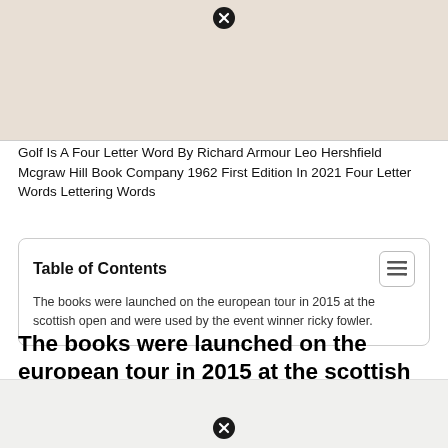[Figure (photo): Partial top view of a book cover with beige/tan background, with a close/dismiss button overlay at the top center]
Golf Is A Four Letter Word By Richard Armour Leo Hershfield Mcgraw Hill Book Company 1962 First Edition In 2021 Four Letter Words Lettering Words
| Table of Contents |
| --- |
| The books were launched on the european tour in 2015 at the scottish open and were used by the event winner ricky fowler. |
The books were launched on the european tour in 2015 at the scottish open and were used by the event winner ricky fowler.
[Figure (photo): Partial bottom view of a book or image with light background and a close/dismiss button overlay at the bottom center]